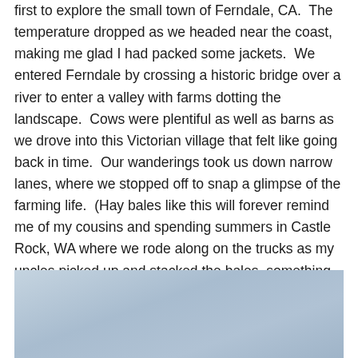first to explore the small town of Ferndale, CA.  The temperature dropped as we headed near the coast, making me glad I had packed some jackets.  We entered Ferndale by crossing a historic bridge over a river to enter a valley with farms dotting the landscape.  Cows were plentiful as well as barns as we drove into this Victorian village that felt like going back in time.  Our wanderings took us down narrow lanes, where we stopped off to snap a glimpse of the farming life.  (Hay bales like this will forever remind me of my cousins and spending summers in Castle Rock, WA where we rode along on the trucks as my uncles picked up and stacked the bales–something far removed from my San Diego life.)
[Figure (photo): Partial photo visible at bottom of page showing a light blue-grey sky or landscape scene]